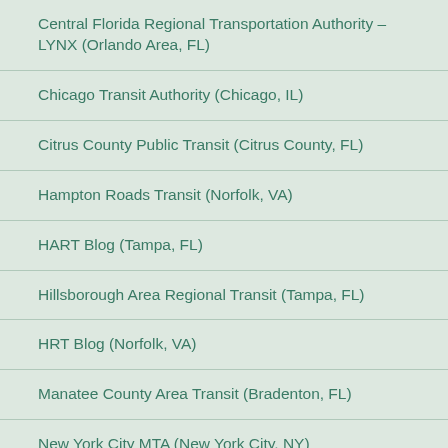Central Florida Regional Transportation Authority – LYNX (Orlando Area, FL)
Chicago Transit Authority (Chicago, IL)
Citrus County Public Transit (Citrus County, FL)
Hampton Roads Transit (Norfolk, VA)
HART Blog (Tampa, FL)
Hillsborough Area Regional Transit (Tampa, FL)
HRT Blog (Norfolk, VA)
Manatee County Area Transit (Bradenton, FL)
New York City MTA (New York City, NY)
Pasco County Public Transportation (Pasco County, FL)